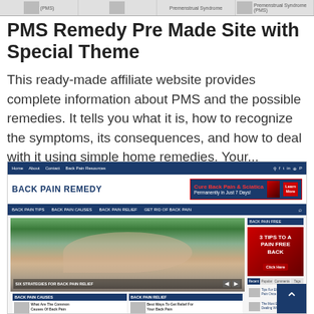[Figure (screenshot): Top strip showing PMS/Premenstrual Syndrome website screenshots with small thumbnail images and text labels]
PMS Remedy Pre Made Site with Special Theme
This ready-made affiliate website provides complete information about PMS and the possible remedies. It tells you what it is, how to recognize the symptoms, its consequences, and how to deal with it using simple home remedies. Your...
[Figure (screenshot): Screenshot of Back Pain Remedy affiliate website showing navy blue navigation, header with logo and ad banner for Cure Back Pain & Sciatica, sub-navigation with Back Pain Tips/Causes/Relief/Get Rid of Back Pain, main content area with massage image slider captioned Six Strategies for Back Pain Relief, two column cards for Back Pain Causes and Back Pain Relief, and a sidebar with Back Pain Free section showing a back pain ad and Recent/Popular/Comments/Tags tabs with article links.]